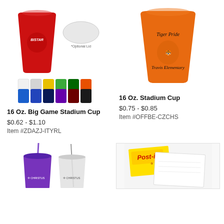[Figure (photo): Red 16 oz stadium cup with football player logo and optional white oval lid shown beside it, with color swatches below showing white, light grey, yellow, green, dark green, orange (top row) and blue, royal blue, navy, purple, maroon, black (bottom row)]
[Figure (photo): Orange 16 oz stadium cup with Tiger Pride / Travis Elementary logo printed in black]
16 Oz. Big Game Stadium Cup
$0.62 - $1.10
Item #ZDAZJ-ITYRL
16 Oz. Stadium Cup
$0.75 - $0.85
Item #OFFBE-CZCHS
[Figure (photo): Two tumblers with straws and lids - one purple and one clear/white, both with Christus logo]
[Figure (photo): Post-it brand sticky notes product image showing yellow Post-it pad and white notepad]